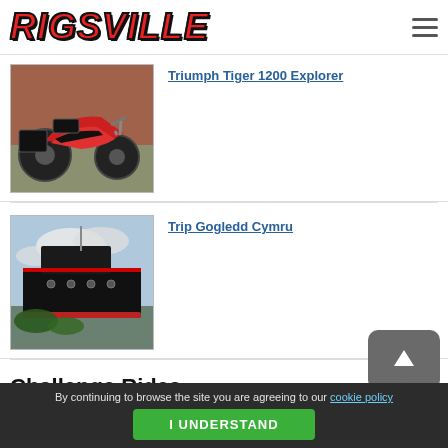RIGSVILLE
[Figure (photo): Triumph Tiger 1200 Explorer motorcycle parked against a red brick wall, loaded with luggage]
Triumph Tiger 1200 Explorer
[Figure (photo): Large black ship docked near the shore with cloudy sky in background]
Trip Gogledd Cymru
Challenge Rides
By continuing to browse the site you are agreeing to our cookie policy
I UNDERSTAND